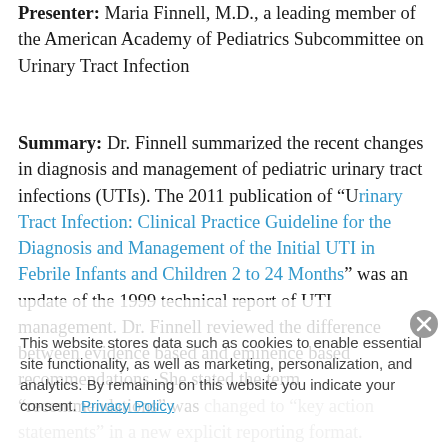Presenter: Maria Finnell, M.D., a leading member of the American Academy of Pediatrics Subcommittee on Urinary Tract Infection
Summary: Dr. Finnell summarized the recent changes in diagnosis and management of pediatric urinary tract infections (UTIs). The 2011 publication of "Urinary Tract Infection: Clinical Practice Guideline for the Diagnosis and Management of the Initial UTI in Febrile Infants and Children 2 to 24 Months" was an update of the 1999 technical report of UTI management. Dr. Finnell reviewed the difference between evidence based and eminence based recommendations. She stated the term "recommendations" was changed to "key action statements" in a new explicit reporting format. Aggregate quality of the evidence is presented in the report in an effort to keep...
This website stores data such as cookies to enable essential site functionality, as well as marketing, personalization, and analytics. By remaining on this website you indicate your consent. Privacy Policy